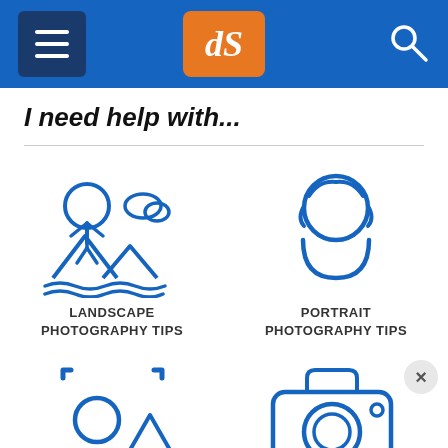[Figure (screenshot): Navigation bar with hamburger menu, dPS logo in orange box, and search icon on blue background]
I need help with...
[Figure (illustration): Landscape photography icon: tree, person, mountains, cloud in blue outline style. Label: LANDSCAPE PHOTOGRAPHY TIPS]
[Figure (illustration): Portrait photography icon: person head/face outline in blue. Label: PORTRAIT PHOTOGRAPHY TIPS]
[Figure (illustration): Composition/focus icon: circle and triangle inside a rectangular frame, blue outline]
[Figure (illustration): Camera icon: blue outline style camera]